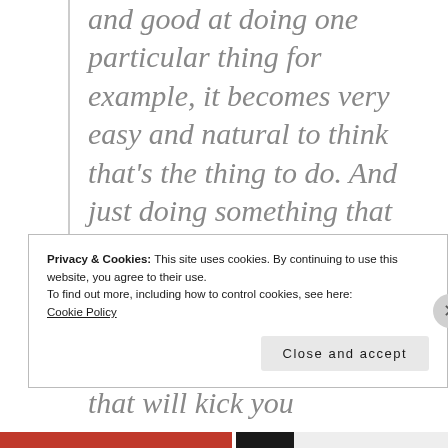and good at doing one particular thing for example, it becomes very easy and natural to think that's the thing to do. And just doing something that we're not good at, doing something really different than the things we do every day can be the sort of thing that will kick you
Privacy & Cookies: This site uses cookies. By continuing to use this website, you agree to their use.
To find out more, including how to control cookies, see here:
Cookie Policy
Close and accept